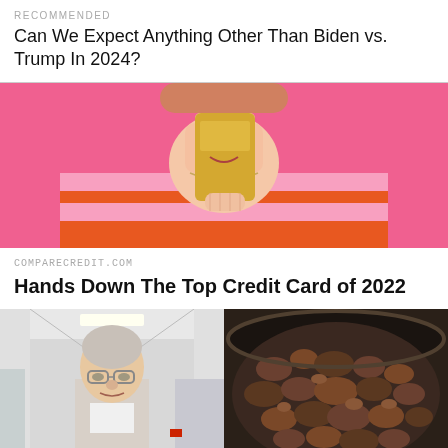RECOMMENDED
Can We Expect Anything Other Than Biden vs. Trump In 2024?
[Figure (photo): Woman holding a gold/yellow credit card in front of her face against a pink background, wearing an orange and pink striped top]
COMPARECREDIT.COM
Hands Down The Top Credit Card of 2022
[Figure (photo): Left: elderly man with glasses in a white hallway corridor. Right: ground meat/beef cooking in a black pan.]